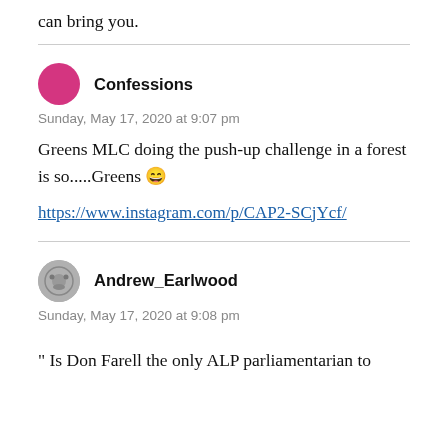can bring you.
Confessions
Sunday, May 17, 2020 at 9:07 pm

Greens MLC doing the push-up challenge in a forest is so.....Greens 😄

https://www.instagram.com/p/CAP2-SCjYcf/
Andrew_Earlwood
Sunday, May 17, 2020 at 9:08 pm

" Is Don Farell the only ALP parliamentarian to